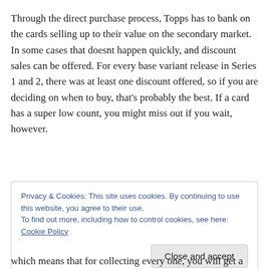Through the direct purchase process, Topps has to bank on the cards selling up to their value on the secondary market. In some cases that doesnt happen quickly, and discount sales can be offered. For every base variant release in Series 1 and 2, there was at least one discount offered, so if you are deciding on when to buy, that’s probably the best. If a card has a super low count, you might miss out if you wait, however.
Privacy & Cookies: This site uses cookies. By continuing to use this website, you agree to their use.
To find out more, including how to control cookies, see here: Cookie Policy
Close and accept
which means that for collecting every one, you will get a